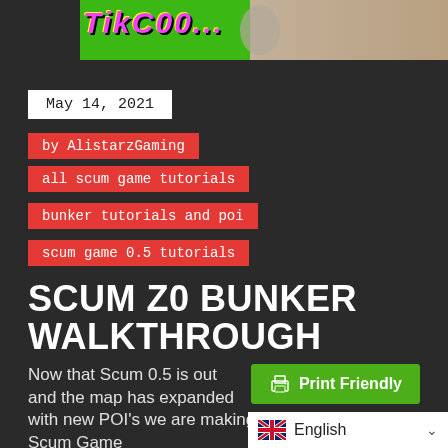[Figure (screenshot): Top banner image showing a gaming thumbnail with pink/magenta stylized text on green background on left, and sandy/earthy terrain on right]
May 14, 2021
by AlistarzGaming
all scum game tutorials
bunker tutorials and poi
scum game 0.5 tutorials
SCUM Z0 BUNKER WALKTHROUGH
Print Friendly
Now that Scum 0.5 is out and the map has expanded with new POI's we are making a series of new Scum Game
English